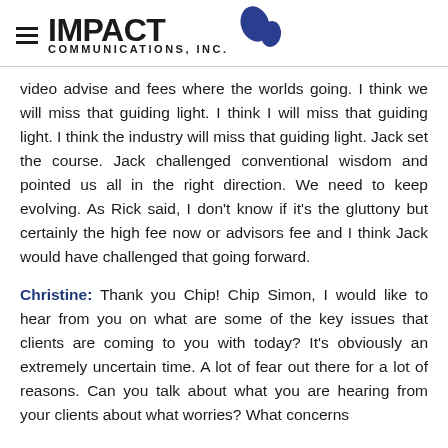IMPACT COMMUNICATIONS, INC.
video advise and fees where the worlds going. I think we will miss that guiding light. I think I will miss that guiding light. I think the industry will miss that guiding light. Jack set the course. Jack challenged conventional wisdom and pointed us all in the right direction. We need to keep evolving. As Rick said, I don't know if it's the gluttony but certainly the high fee now or advisors fee and I think Jack would have challenged that going forward.
Christine: Thank you Chip! Chip Simon, I would like to hear from you on what are some of the key issues that clients are coming to you with today? It's obviously an extremely uncertain time. A lot of fear out there for a lot of reasons. Can you talk about what you are hearing from your clients about what worries? What concerns